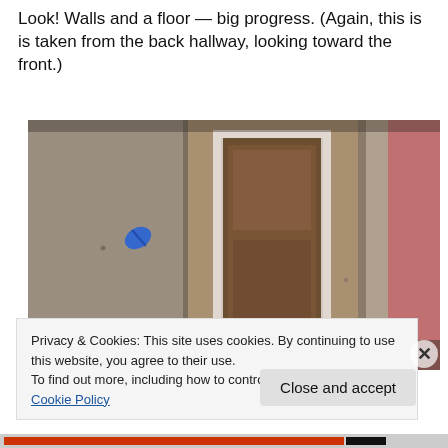Look! Walls and a floor — big progress. (Again, this is is taken from the back hallway, looking toward the front.)
[Figure (photo): Interior construction photo showing drywall walls and a doorway/opening in the center, viewed from a back hallway looking toward the front. Pink insulation visible on the right side.]
Privacy & Cookies: This site uses cookies. By continuing to use this website, you agree to their use.
To find out more, including how to control cookies, see here: Cookie Policy